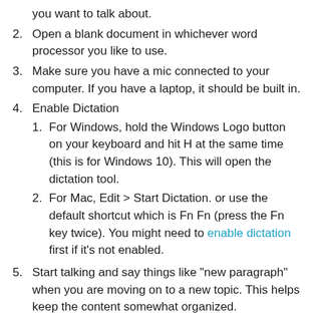you want to talk about.
2. Open a blank document in whichever word processor you like to use.
3. Make sure you have a mic connected to your computer. If you have a laptop, it should be built in.
4. Enable Dictation
1. For Windows, hold the Windows Logo button on your keyboard and hit H at the same time (this is for Windows 10). This will open the dictation tool.
2. For Mac, Edit > Start Dictation. or use the default shortcut which is Fn Fn (press the Fn key twice). You might need to enable dictation first if it's not enabled.
5. Start talking and say things like "new paragraph" when you are moving on to a new topic. This helps keep the content somewhat organized.
6. Go through all your points and make sure to